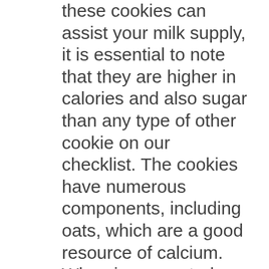these cookies can assist your milk supply, it is essential to note that they are higher in calories and also sugar than any type of other cookie on our checklist. The cookies have numerous components, including oats, which are a good resource of calcium. When incorporated with bust milk, lactation cookies are extremely practical for boosting your supply. However, you must avoid too many of